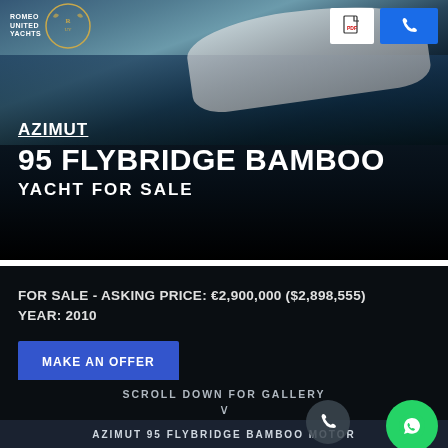ROMEO UNITED YACHTS
[Figure (photo): Hero image of a white yacht on dark ocean water with dark overlay gradient]
AZIMUT
95 FLYBRIDGE BAMBOO
YACHT FOR SALE
FOR SALE - ASKING PRICE: €2,900,000 ($2,898,555)
YEAR: 2010
MAKE AN OFFER
SCROLL DOWN FOR GALLERY
AZIMUT 95 FLYBRIDGE BAMBOO MOTOR